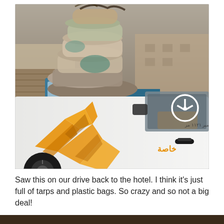[Figure (photo): Street photograph showing a white Mercedes pickup truck decorated with orange flame graphics and Arabic text ('خاصة') on the door, with Mercedes star logo visible through the window. In the background, a blue truck is massively overloaded with large bundles of tarps and plastic bags stacked far above the cab. Urban street scene, likely North Africa or Middle East.]
Saw this on our drive back to the hotel. I think it's just full of tarps and plastic bags. So crazy and so not a big deal!